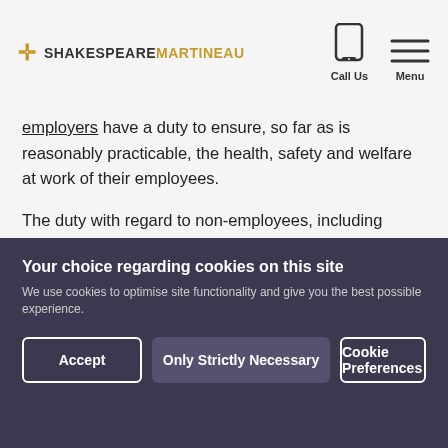Shakespeare Martineau — Call Us | Menu
employers have a duty to ensure, so far as is reasonably practicable, the health, safety and welfare at work of their employees.
The duty with regard to non-employees, including students, is very different. Institutions have a duty to conduct their undertaking (i.e. the business of an education institution) in such a way as to ensure, so far as is reasonably practicable, that non-employees who may be affected by it are not thereby exposed to risks
Your choice regarding cookies on this site
We use cookies to optimise site functionality and give you the best possible experience.
Accept | Only Strictly Necessary | Cookie Preferences